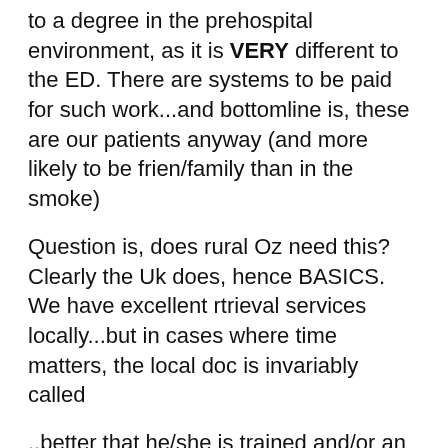to a degree in the prehospital environment, as it is VERY different to the ED. There are systems to be paid for such work...and bottomline is, these are our patients anyway (and more likely to be frien/family than in the smoke)
Question is, does rural Oz need this? Clearly the Uk does, hence BASICS. We have excellent rtrieval services locally...but in cases where time matters, the local doc is invariably called
..better that he/she is trained and/or an enthusiast.
But how to achieve this? Its actually got to come from the docs...ACRRM could be the champion...but also need consent from the prehospital experts which are ambulance and retrievalists.
Ray, your thoughts?